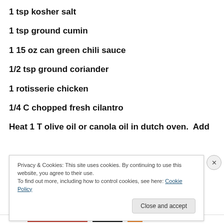1 tsp kosher salt
1 tsp ground cumin
1 15 oz can green chili sauce
1/2 tsp ground coriander
1 rotisserie chicken
1/4 C chopped fresh cilantro
Heat 1 T olive oil or canola oil in dutch oven.  Add
Privacy & Cookies: This site uses cookies. By continuing to use this website, you agree to their use.
To find out more, including how to control cookies, see here: Cookie Policy